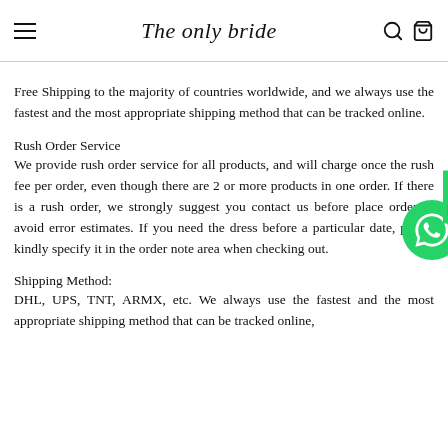The only bride
Free Shipping to the majority of countries worldwide, and we always use the fastest and the most appropriate shipping method that can be tracked online.
Rush Order Service
We provide rush order service for all products, and will charge once the rush fee per order, even though there are 2 or more products in one order. If there is a rush order, we strongly suggest you contact us before place order to avoid error estimates. If you need the dress before a particular date, please kindly specify it in the order note area when checking out.
Shipping Method:
DHL, UPS, TNT, ARMX, etc. We always use the fastest and the most appropriate shipping method that can be tracked online,